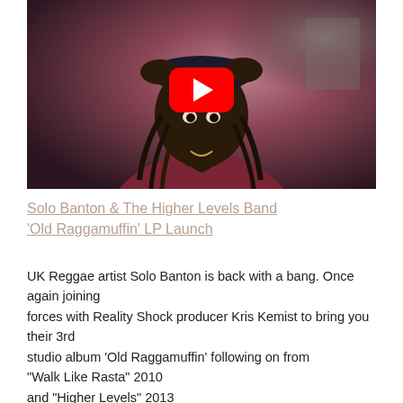[Figure (photo): A Black man with dreadlocks wearing a dark hat and dark red/maroon hoodie, holding his hat with both hands, looking at the camera. A YouTube play button overlay is centered on the image.]
Solo Banton & The Higher Levels Band 'Old Raggamuffin' LP Launch
UK Reggae artist Solo Banton is back with a bang. Once again joining forces with Reality Shock producer Kris Kemist to bring you their 3rd studio album 'Old Raggamuffin' following on from "Walk Like Rasta" 2010 and "Higher Levels" 2013